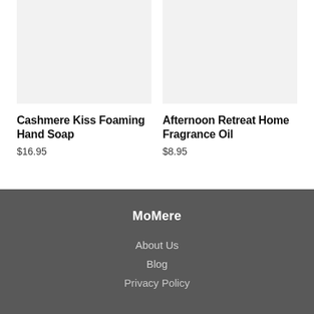[Figure (photo): Product image placeholder for Cashmere Kiss Foaming Hand Soap — light grey rectangle]
[Figure (photo): Product image placeholder for Afternoon Retreat Home Fragrance Oil — light grey rectangle]
Cashmere Kiss Foaming Hand Soap
$16.95
Afternoon Retreat Home Fragrance Oil
$8.95
MoMere
About Us
Blog
Privacy Policy